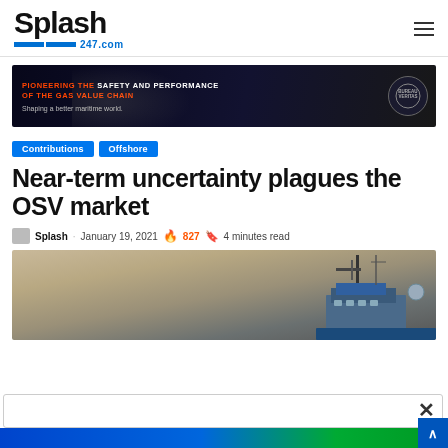Splash247.com
[Figure (photo): Advertisement banner: PIONEERING THE SAFETY AND PERFORMANCE OF THE GAS VALUE CHAIN - Shaping a better maritime world. Bureau Veritas logo.]
Contributions
Offshore
Near-term uncertainty plagues the OSV market
Splash · January 19, 2021 · 827 · 4 minutes read
[Figure (photo): Photo of an offshore supply vessel superstructure against a hazy sky]